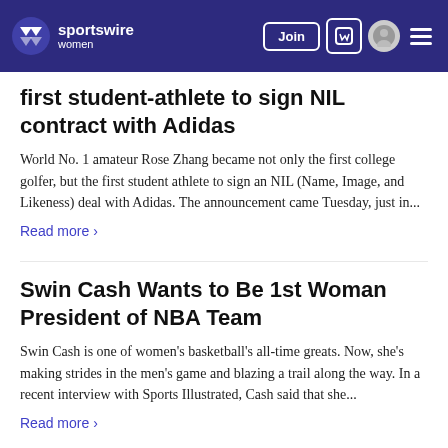sportswire women — Join
first student-athlete to sign NIL contract with Adidas
World No. 1 amateur Rose Zhang became not only the first college golfer, but the first student athlete to sign an NIL (Name, Image, and Likeness) deal with Adidas. The announcement came Tuesday, just in...
Read more ›
Swin Cash Wants to Be 1st Woman President of NBA Team
Swin Cash is one of women's basketball's all-time greats. Now, she's making strides in the men's game and blazing a trail along the way. In a recent interview with Sports Illustrated, Cash said that she...
Read more ›